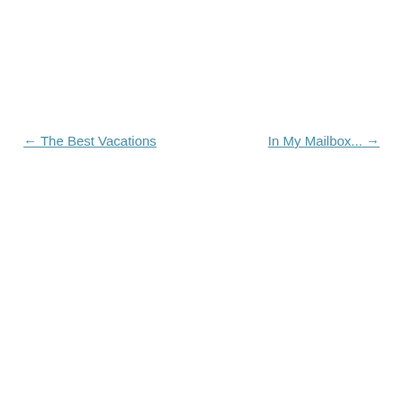← The Best Vacations
In My Mailbox... →